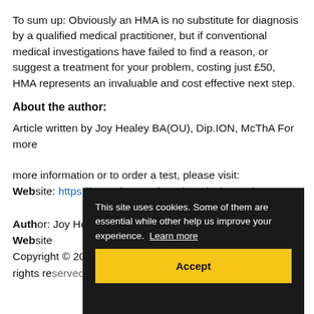To sum up: Obviously an HMA is no substitute for diagnosis by a qualified medical practitioner, but if conventional medical investigations have failed to find a reason, or suggest a treatment for your problem, costing just £50, HMA represents an invaluable and cost effective next step.
About the author:
Article written by Joy Healey BA(OU), Dip.ION, McThA For more information or to order a test, please visit:
Website: https://www.tissue-mineral-analysis.com/
Author: Joy Healey BA(OU), Dip.ION
Website:
Copyright © 2022 Joy Healey BA(OU), Dip.ION, MIGPP. All rights reserved
This site uses cookies. Some of them are essential while other help us improve your experience. Learn more
Accept
Back to articles' list